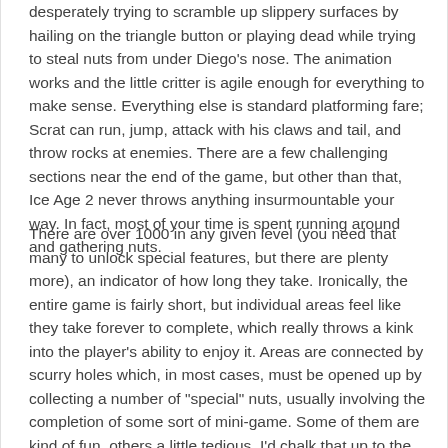desperately trying to scramble up slippery surfaces by hailing on the triangle button or playing dead while trying to steal nuts from under Diego's nose. The animation works and the little critter is agile enough for everything to make sense. Everything else is standard platforming fare; Scrat can run, jump, attack with his claws and tail, and throw rocks at enemies. There are a few challenging sections near the end of the game, but other than that, Ice Age 2 never throws anything insurmountable your way. In fact, most of your time is spent running around and gathering nuts.
There are over 1000 in any given level (you need that many to unlock special features, but there are plenty more), an indicator of how long they take. Ironically, the entire game is fairly short, but individual areas feel like they take forever to complete, which really throws a kink into the player's ability to enjoy it. Areas are connected by scurry holes which, in most cases, must be opened up by collecting a number of "special" nuts, usually involving the completion of some sort of mini-game. Some of them are kind of fun, others a little tedious. I'd chalk that up to the difference between my age and that of the target audience, but a few just seem a little sloppy. For instance, there's a part where you have to memorize the order in which elephants do flips in a mud bog, Simon-style. You've got a couple minutes to